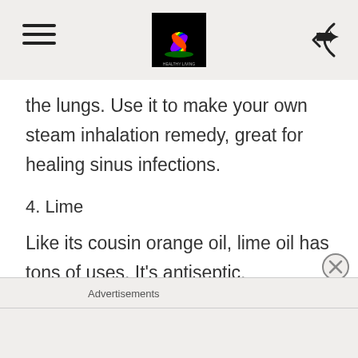[Logo] [Hamburger menu] [Back button]
the lungs. Use it to make your own steam inhalation remedy, great for healing sinus infections.
4. Lime
Like its cousin orange oil, lime oil has tons of uses. It’s antiseptic, antibacterial and  antiviral, meaning it will help your immune system fight off germs left and right. It can also be added to natural household cleaners, and is great at removing sticker residue and gum from
Advertisements